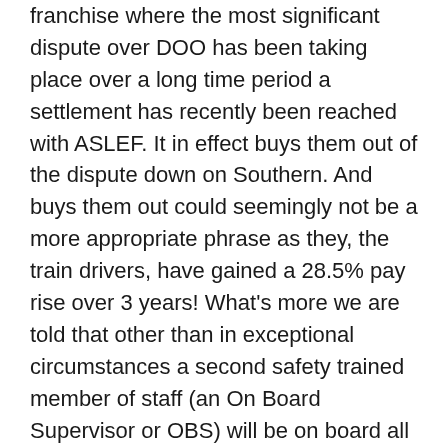franchise where the most significant dispute over DOO has been taking place over a long time period a settlement has recently been reached with ASLEF. It in effect buys them out of the dispute down on Southern. And buys them out could seemingly not be a more appropriate phrase as they, the train drivers, have gained a 28.5% pay rise over 3 years! What's more we are told that other than in exceptional circumstances a second safety trained member of staff (an On Board Supervisor or OBS) will be on board all Southern trains – is that not all but alternative speak for a train guard?
Ironically, the Southern dispute was being propped up by the Department for Transport who were seemingly out to break trade union refusal to accept more DOO trains. Well it's cost the DfT quite a few bob in the end and train guards with a different name and the same responsibilities all but win!